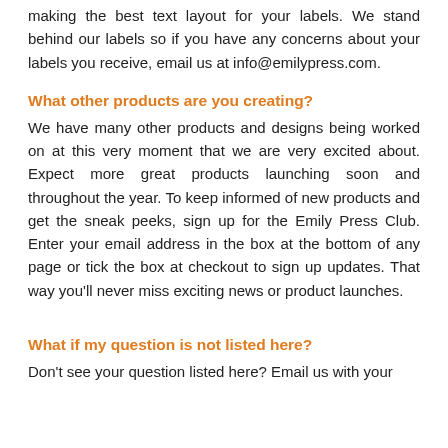making the best text layout for your labels. We stand behind our labels so if you have any concerns about your labels you receive, email us at info@emilypress.com.
What other products are you creating?
We have many other products and designs being worked on at this very moment that we are very excited about. Expect more great products launching soon and throughout the year. To keep informed of new products and get the sneak peeks, sign up for the Emily Press Club. Enter your email address in the box at the bottom of any page or tick the box at checkout to sign up updates. That way you'll never miss exciting news or product launches.
What if my question is not listed here?
Don't see your question listed here? Email us with your